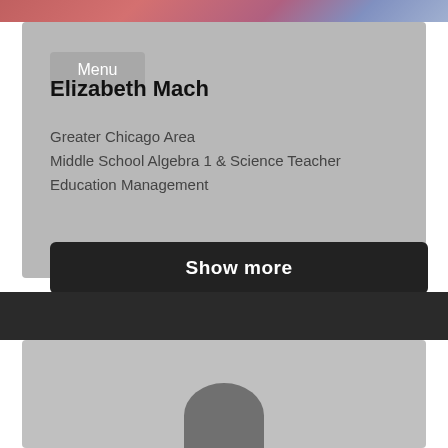[Figure (photo): Top banner with colorful background image (hair/portrait photo strip)]
Menu
Elizabeth Mach
Greater Chicago Area
Middle School Algebra 1 & Science Teacher
Education Management
Show more
[Figure (photo): Bottom profile card with dark background and partial avatar silhouette visible at bottom]